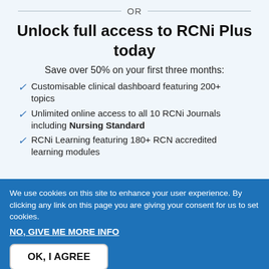OR
Unlock full access to RCNi Plus today
Save over 50% on your first three months:
Customisable clinical dashboard featuring 200+ topics
Unlimited online access to all 10 RCNi Journals including Nursing Standard
RCNi Learning featuring 180+ RCN accredited learning modules
We use cookies on this site to enhance your user experience. By clicking any link on this page you are giving your consent for us to set cookies.
NO, GIVE ME MORE INFO
OK, I AGREE